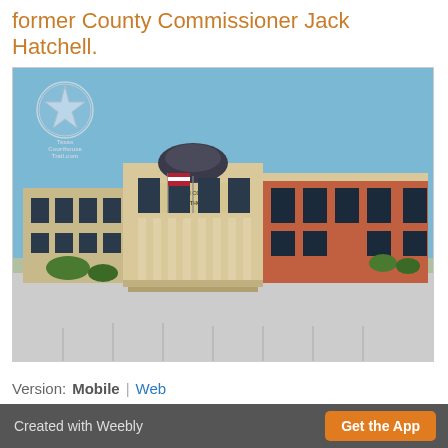former County Commissioner Jack Hatchell.
[Figure (photo): Photograph of Collin County Courthouse, a large modern building with a central dome, brick and stone facade, columns at the entrance, and American flags. Taken from parking lot. Texas Courthouse Trail.com logo in upper left corner.]
Version:  Mobile  |  Web
Created with Weebly  |  Get the App